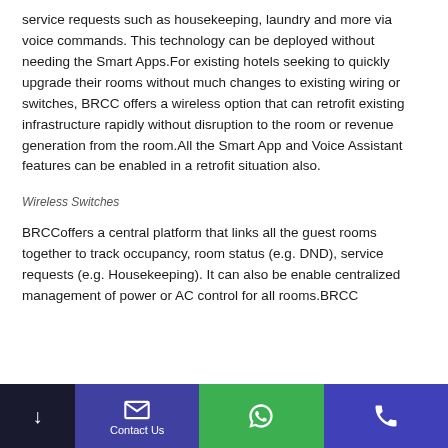service requests such as housekeeping, laundry and more via voice commands. This technology can be deployed without needing the Smart Apps.For existing hotels seeking to quickly upgrade their rooms without much changes to existing wiring or switches, BRCC offers a wireless option that can retrofit existing infrastructure rapidly without disruption to the room or revenue generation from the room.All the Smart App and Voice Assistant features can be enabled in a retrofit situation also.
Wireless Switches
BRCCoffers a central platform that links all the guest rooms together to track occupancy, room status (e.g. DND), service requests (e.g. Housekeeping). It can also be enable centralized management of power or AC control for all rooms.BRCC
↓  Contact Us  [WhatsApp icon]  [Phone icon]